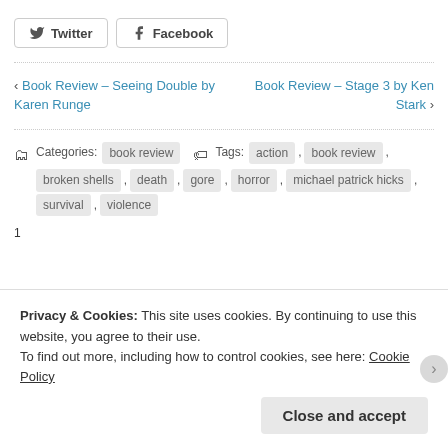[Figure (other): Social sharing buttons for Twitter and Facebook]
‹ Book Review – Seeing Double by Karen Runge   Book Review – Stage 3 by Ken Stark ›
Categories: book review   Tags: action , book review , broken shells , death , gore , horror , michael patrick hicks , survival , violence
1
Privacy & Cookies: This site uses cookies. By continuing to use this website, you agree to their use.
To find out more, including how to control cookies, see here: Cookie Policy
Close and accept